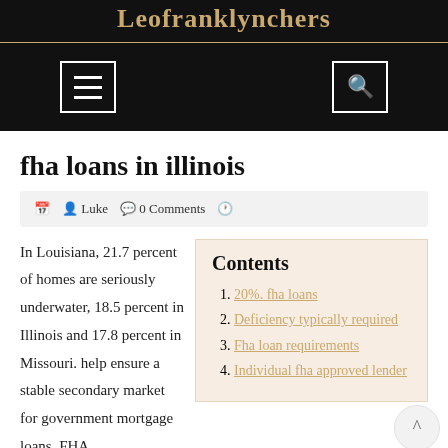Leofranklynchers
fha loans in illinois
Luke  0 Comments
In Louisiana, 21.7 percent of homes are seriously underwater, 18.5 percent in Illinois and 17.8 percent in Missouri. help ensure a stable secondary market for government mortgage loans. FHA
20%. fha loans
Deficiency typically required
Fha loan requirements
Individual fha approved lender